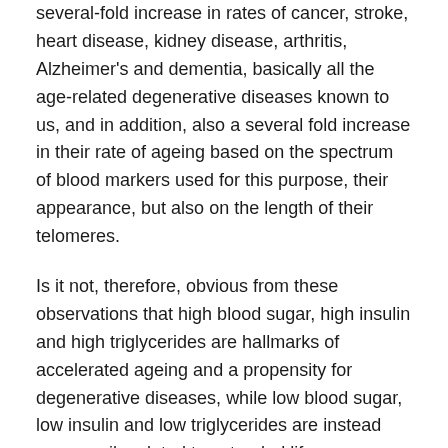several-fold increase in rates of cancer, stroke, heart disease, kidney disease, arthritis, Alzheimer's and dementia, basically all the age-related degenerative diseases known to us, and in addition, also a several fold increase in their rate of ageing based on the spectrum of blood markers used for this purpose, their appearance, but also on the length of their telomeres.
Is it not, therefore, obvious from these observations that high blood sugar, high insulin and high triglycerides are hallmarks of accelerated ageing and a propensity for degenerative diseases, while low blood sugar, low insulin and low triglycerides are instead necessarily related to extended lifespan, extended healthspan and increased resistance to all disease conditions including those categorised as degenerative, and this, independently of the actual mechanisms involved?